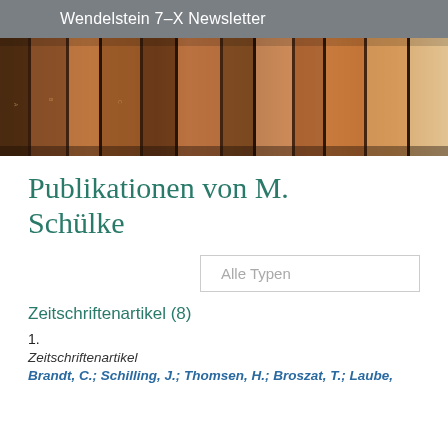Wendelstein 7-X Newsletter
[Figure (photo): Row of old leather-bound books on a library shelf, viewed from the side showing spines.]
Publikationen von M. Schülke
Alle Typen
Zeitschriftenartikel (8)
1.
Zeitschriftenartikel
Brandt, C.; Schilling, J.; Thomsen, H.; Broszat, T.; Laube,